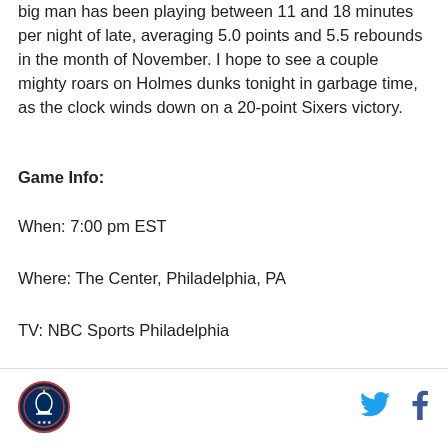big man has been playing between 11 and 18 minutes per night of late, averaging 5.0 points and 5.5 rebounds in the month of November. I hope to see a couple mighty roars on Holmes dunks tonight in garbage time, as the clock winds down on a 20-point Sixers victory.
Game Info:
When: 7:00 pm EST
Where: The Center, Philadelphia, PA
TV: NBC Sports Philadelphia
Radio: 97.5 the Fanatic
[Figure (logo): Philadelphia 76ers circular logo]